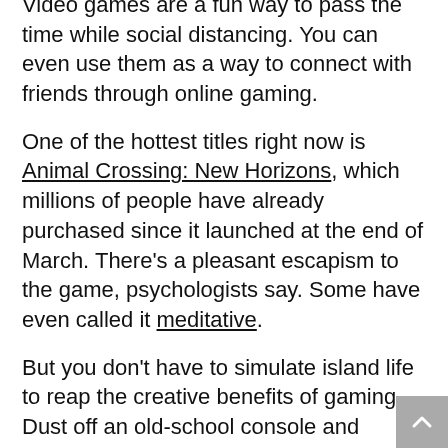Video games are a fun way to pass the time while social distancing. You can even use them as a way to connect with friends through online gaming.
One of the hottest titles right now is Animal Crossing: New Horizons, which millions of people have already purchased since it launched at the end of March. There’s a pleasant escapism to the game, psychologists say. Some have even called it meditative.
But you don’t have to simulate island life to reap the creative benefits of gaming. Dust off an old-school console and reconnect with the favorite games of your youth.
Click here to shop for products that nurture your creativity.